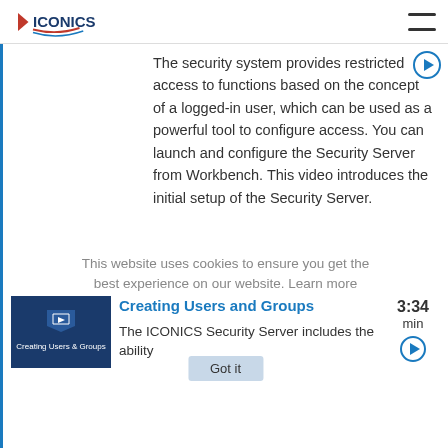ICONICS
The security system provides restricted access to functions based on the concept of a logged-in user, which can be used as a powerful tool to configure access. You can launch and configure the Security Server from Workbench. This video introduces the initial setup of the Security Server.
This website uses cookies to ensure you get the best experience on our website. Learn more
Creating Users and Groups
The ICONICS Security Server includes the ability
3:34 min